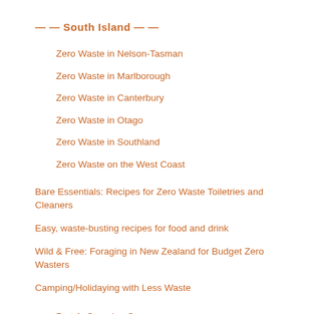-- South Island --
Zero Waste in Nelson-Tasman
Zero Waste in Marlborough
Zero Waste in Canterbury
Zero Waste in Otago
Zero Waste in Southland
Zero Waste on the West Coast
Bare Essentials: Recipes for Zero Waste Toiletries and Cleaners
Easy, waste-busting recipes for food and drink
Wild & Free: Foraging in New Zealand for Budget Zero Wasters
Camping/Holidaying with Less Waste
Part 1: Camping Gear